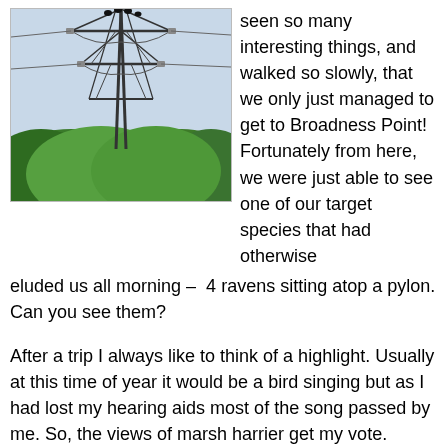[Figure (photo): Photo of a large metal electricity pylon (transmission tower) with power lines, surrounded by dense green trees and foliage against a pale sky. Ravens can be spotted sitting atop the pylon.]
seen so many interesting things, and walked so slowly, that we only just managed to get to Broadness Point! Fortunately from here, we were just able to see one of our target species that had otherwise eluded us all morning – 4 ravens sitting atop a pylon. Can you see them?
After a trip I always like to think of a highlight. Usually at this time of year it would be a bird singing but as I had lost my hearing aids most of the song passed by me. So, the views of marsh harrier get my vote.
Thanks to everyone for coming. Thanks to Sally for the